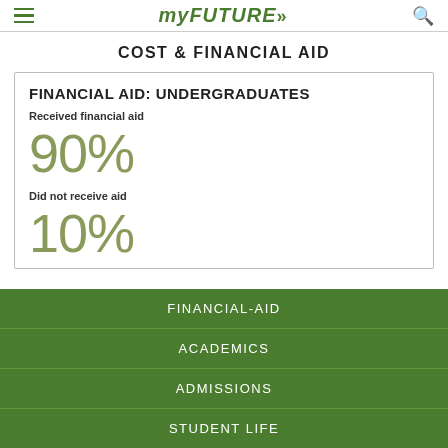myFUTURE»
COST & FINANCIAL AID
FINANCIAL AID: UNDERGRADUATES
Received financial aid
90%
Did not receive aid
10%
FINANCIAL-AID
ACADEMICS
ADMISSIONS
STUDENT LIFE